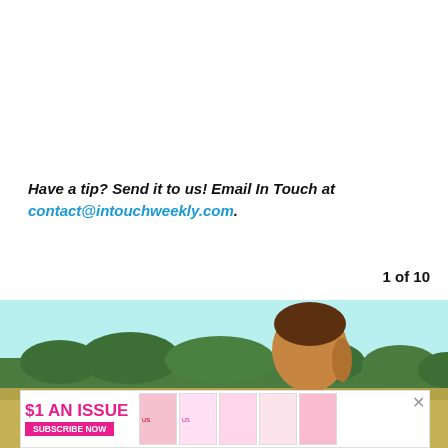Have a tip? Send it to us! Email In Touch at contact@intouchweekly.com.
1 of 10
[Figure (photo): Outdoor scene showing a man from behind/side with short brown hair, with a field, trees, and light blue sky in the background.]
[Figure (infographic): Advertisement banner: $1 AN ISSUE SUBSCRIBE NOW with magazine covers shown.]